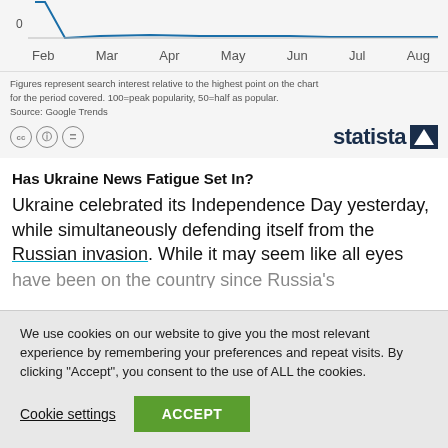[Figure (line-chart): Partial line chart showing x-axis months Feb through Aug, with a line that spikes at the left and then decreases to near 0]
Figures represent search interest relative to the highest point on the chart for the period covered. 100=peak popularity, 50=half as popular.
Source: Google Trends
[Figure (logo): Statista logo with CC icons on the left]
Has Ukraine News Fatigue Set In?
Ukraine celebrated its Independence Day yesterday, while simultaneously defending itself from the Russian invasion. While it may seem like all eyes
We use cookies on our website to give you the most relevant experience by remembering your preferences and repeat visits. By clicking "Accept", you consent to the use of ALL the cookies.